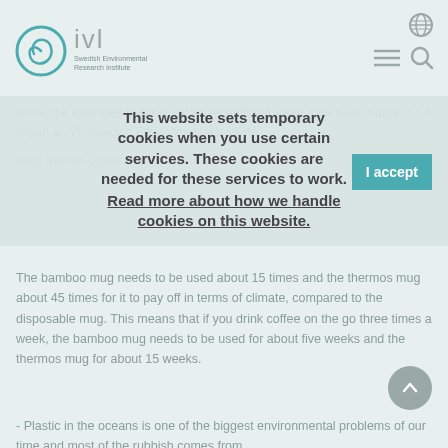IVL Swedish Environmental Research Institute
times, the examples in the study we recently did show, says Karin Sanne, LCA expert at IVL Swedish Environmental Institute.
This website sets temporary cookies when you use certain services. These cookies are needed for these services to work. Read more about how we handle cookies on this website.
Most rubbish comes from...
The bamboo mug needs to be used about 15 times and the thermos mug about 45 times for it to pay off in terms of climate, compared to the disposable mug. This means that if you drink coffee on the go three times a week, the bamboo mug needs to be used for about five weeks and the thermos mug for about 15 weeks.
- Plastic in the oceans is one of the biggest environmental problems of our time and most of the rubbish comes from